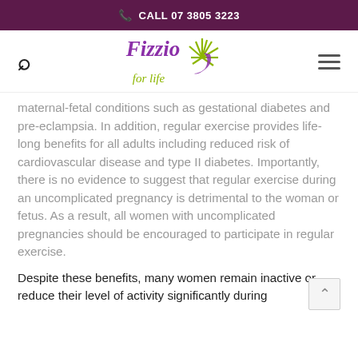CALL 07 3805 3223
[Figure (logo): Fizzio for Life logo with search icon and hamburger menu]
maternal-fetal conditions such as gestational diabetes and pre-eclampsia. In addition, regular exercise provides life-long benefits for all adults including reduced risk of cardiovascular disease and type II diabetes. Importantly, there is no evidence to suggest that regular exercise during an uncomplicated pregnancy is detrimental to the woman or fetus. As a result, all women with uncomplicated pregnancies should be encouraged to participate in regular exercise.
Despite these benefits, many women remain inactive or reduce their level of activity significantly during